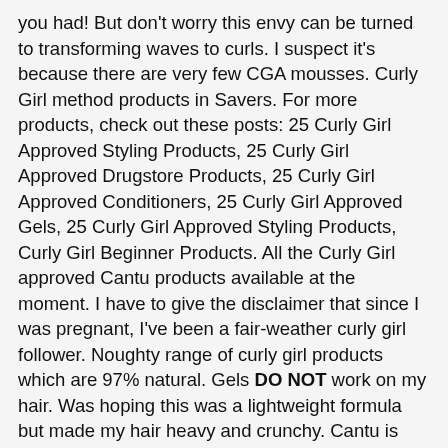you had! But don't worry this envy can be turned to transforming waves to curls. I suspect it's because there are very few CGA mousses. Curly Girl method products in Savers. For more products, check out these posts: 25 Curly Girl Approved Styling Products, 25 Curly Girl Approved Drugstore Products, 25 Curly Girl Approved Conditioners, 25 Curly Girl Approved Gels, 25 Curly Girl Approved Styling Products, Curly Girl Beginner Products. All the Curly Girl approved Cantu products available at the moment. I have to give the disclaimer that since I was pregnant, I've been a fair-weather curly girl follower. Noughty range of curly girl products which are 97% natural. Gels DO NOT work on my hair. Was hoping this was a lightweight formula but made my hair heavy and crunchy. Cantu is constantly bringing out new conditioners, gels and other styling products and we will of course update this blog post as and when that happens. Forget the craft project of rubber-cement-like gels and pudding; your natural hair texture deserves only the best. Now my hair grows at a faster rate and it is much longer, shinier and overall healthier. We will